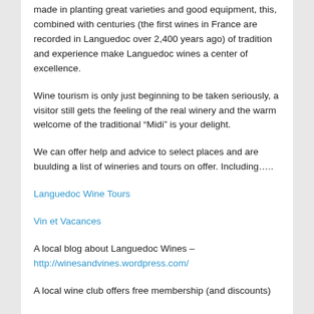made in planting great varieties and good equipment, this, combined with centuries (the first wines in France are recorded in Languedoc over 2,400 years ago) of tradition and experience make Languedoc wines a center of excellence.
Wine tourism is only just beginning to be taken seriously, a visitor still gets the feeling of the real winery and the warm welcome of the traditional “Midi” is your delight.
We can offer help and advice to select places and are buulding a list of wineries and tours on offer. Including…..
Languedoc Wine Tours
Vin et Vacances
A local blog about Languedoc Wines – http://winesandvines.wordpress.com/
A local wine club offers free membership (and discounts)